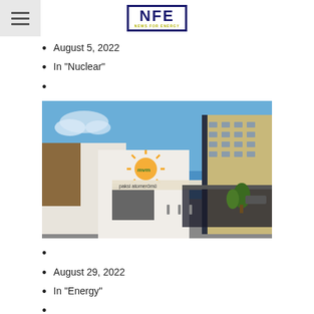NFE News For Energy
August 5, 2022
In "Nuclear"
[Figure (photo): Exterior photo of Paksi Atomerőmű (Paks nuclear power plant) in Hungary, showing a white building with the MVM sun logo and a sign reading 'paksi atomerőmű', with a parking sign, trees, and a multi-story building in the background under a blue sky.]
August 29, 2022
In "Energy"